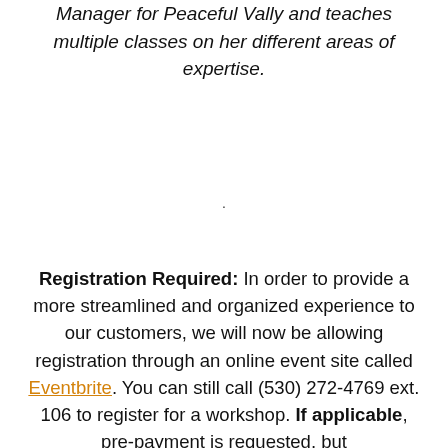Manager for Peaceful Vally and teaches multiple classes on her different areas of expertise.
.
Registration Required: In order to provide a more streamlined and organized experience to our customers, we will now be allowing registration through an online event site called Eventbrite. You can still call (530) 272-4769 ext. 106 to register for a workshop. If applicable, pre-payment is requested, but